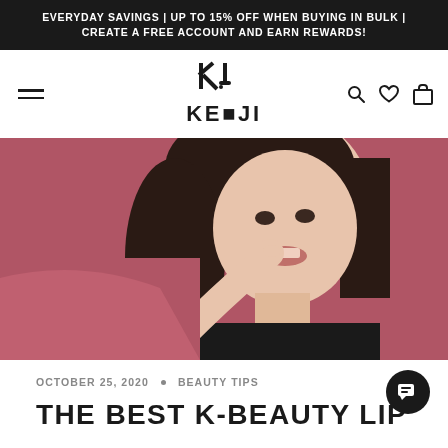EVERYDAY SAVINGS | UP TO 15% OFF WHEN BUYING IN BULK | CREATE A FREE ACCOUNT AND EARN REWARDS!
[Figure (logo): Keoji brand logo — stylized KJ monogram above the word KEOJI in bold geometric font]
[Figure (photo): Young Asian woman smiling, pointing finger to lips, wearing black top, against mauve/rose background]
OCTOBER 25, 2020  •  BEAUTY TIPS
THE BEST K-BEAUTY LIP